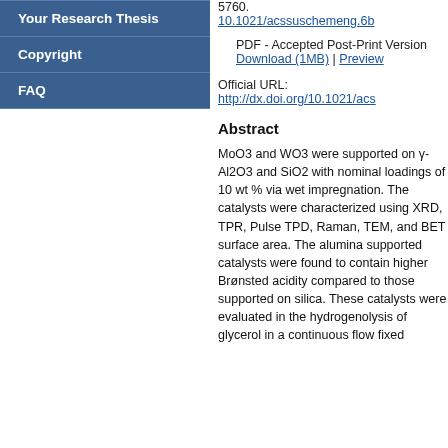Your Research Thesis
Copyright
FAQ
5760. 10.1021/acssuschemeng.6b...
PDF - Accepted Post-Print Version Download (1MB) | Preview
Official URL: http://dx.doi.org/10.1021/acs...
Abstract
MoO3 and WO3 were supported on γ-Al2O3 and SiO2 with nominal loadings of 10 wt % via wet impregnation. The catalysts were characterized using XRD, TPR, Pulse TPD, Raman, TEM, and BET surface area. The alumina supported catalysts were found to contain higher Brønsted acidity compared to those supported on silica. These catalysts were evaluated in the hydrogenolysis of glycerol in a continuous flow fixed